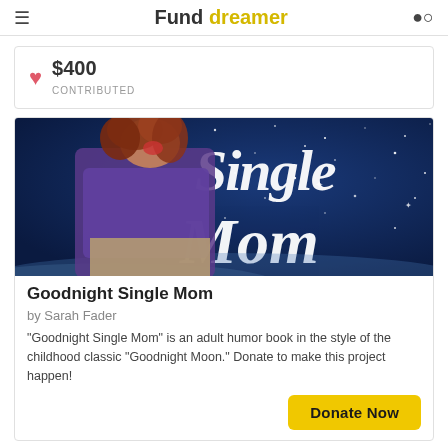Fund dreamer
$400 CONTRIBUTED
[Figure (photo): Campaign banner image for Goodnight Single Mom — woman with curly red hair in purple sweater on a starry blue background with large white script text reading 'Single Mom']
Goodnight Single Mom
by Sarah Fader
"Goodnight Single Mom" is an adult humor book in the style of the childhood classic "Goodnight Moon." Donate to make this project happen!
Donate Now